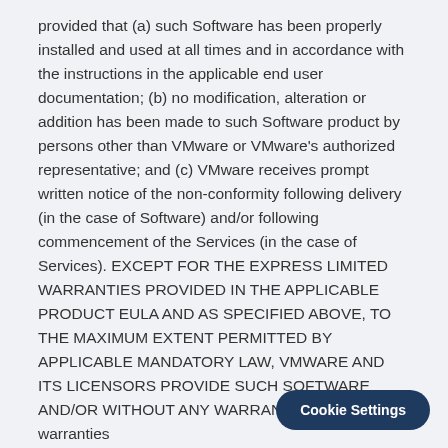provided that (a) such Software has been properly installed and used at all times and in accordance with the instructions in the applicable end user documentation; (b) no modification, alteration or addition has been made to such Software product by persons other than VMware or VMware's authorized representative; and (c) VMware receives prompt written notice of the non-conformity following delivery (in the case of Software) and/or following commencement of the Services (in the case of Services). EXCEPT FOR THE EXPRESS LIMITED WARRANTIES PROVIDED IN THE APPLICABLE PRODUCT EULA AND AS SPECIFIED ABOVE, TO THE MAXIMUM EXTENT PERMITTED BY APPLICABLE MANDATORY LAW, VMWARE AND ITS LICENSORS PROVIDE SUCH SOFTWARE AND/OR WITHOUT ANY WARRANTIES OR WARRANTIES